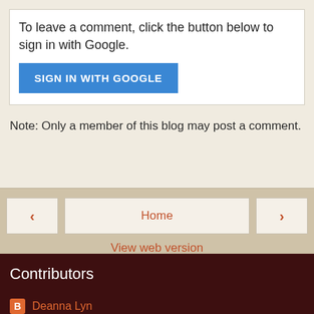To leave a comment, click the button below to sign in with Google.
[Figure (other): SIGN IN WITH GOOGLE blue button]
Note: Only a member of this blog may post a comment.
[Figure (other): Navigation bar with left arrow, Home, and right arrow buttons, plus View web version link]
Contributors
Deanna Lyn
Gourmet Ads
Powered by Blogger.